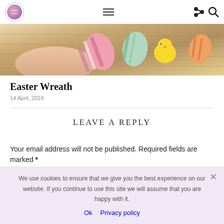Mami Finds — navigation header with logo, hamburger menu, share and search icons
[Figure (photo): Close-up photo of Easter-themed craft items including colorful striped Easter eggs and a small yellow chick decoration in a basket]
Easter Wreath
14 April, 2019
LEAVE A REPLY
Your email address will not be published. Required fields are marked *
We use cookies to ensure that we give you the best experience on our website. If you continue to use this site we will assume that you are happy with it.